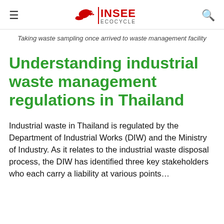INSEE ECOCYCLE
Taking waste sampling once arrived to waste management facility
Understanding industrial waste management regulations in Thailand
Industrial waste in Thailand is regulated by the Department of Industrial Works (DIW) and the Ministry of Industry. As it relates to the industrial waste disposal process, the DIW has identified three key stakeholders who each carry a liability at various points…